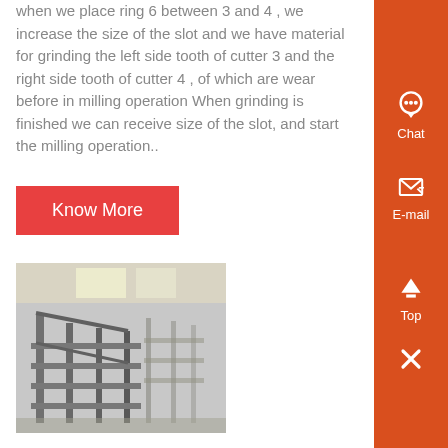when we place ring 6 between 3 and 4 , we increase the size of the slot and we have material for grinding the left side tooth of cutter 3 and the right side tooth of cutter 4 , of which are wear before in milling operation When grinding is finished we can receive size of the slot, and start the milling operation..
Know More
[Figure (photo): Industrial metal frame or rack structure in a factory/warehouse setting]
Cut O Ring Grooves
Jan 23, 2009 0183 32 Cut O Ring Grooves IHCNC Loading,